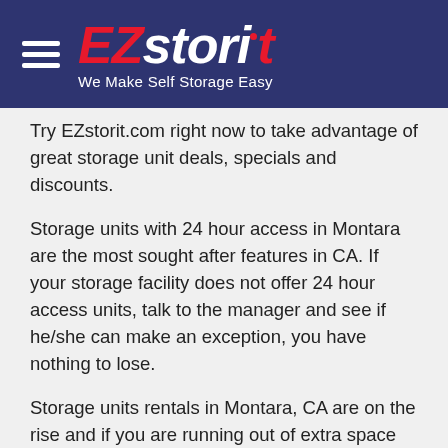EZstorit — We Make Self Storage Easy
Try EZstorit.com right now to take advantage of great storage unit deals, specials and discounts.
Storage units with 24 hour access in Montara are the most sought after features in CA. If your storage facility does not offer 24 hour access units, talk to the manager and see if he/she can make an exception, you have nothing to lose.
Storage units rentals in Montara, CA are on the rise and if you are running out of extra space storage in your home, you need to act fast!
Montara Car Storage, the best vehicle storage in CA
Finding car storage in Montara, CA has never been easier. At EZstorit.com we know how much you love your car, and the last thing you want to worry about when storing it is theft or damage. Our customers use self-storage near me in Montara to